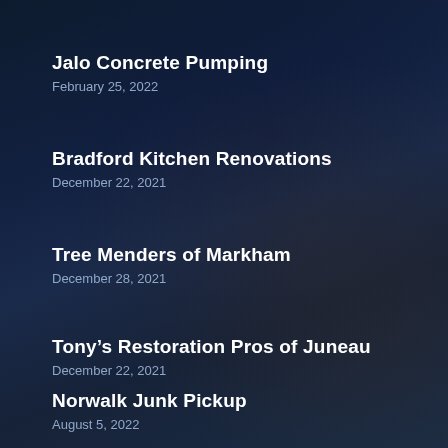Jalo Concrete Pumping
February 25, 2022
Bradford Kitchen Renovations
December 22, 2021
Tree Menders of Markham
December 28, 2021
Tony's Restoration Pros of Juneau
December 22, 2021
Norwalk Junk Pickup
August 5, 2022